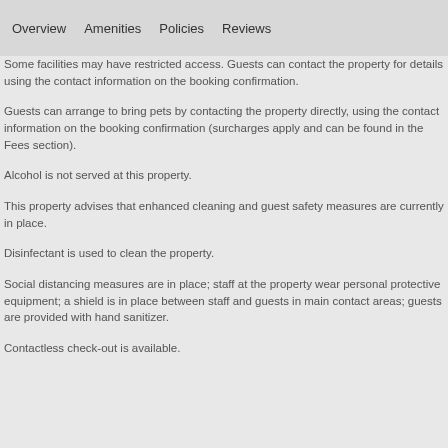Overview   Amenities   Policies   Reviews
Some facilities may have restricted access. Guests can contact the property for details using the contact information on the booking confirmation.
Guests can arrange to bring pets by contacting the property directly, using the contact information on the booking confirmation (surcharges apply and can be found in the Fees section).
Alcohol is not served at this property.
This property advises that enhanced cleaning and guest safety measures are currently in place.
Disinfectant is used to clean the property.
Social distancing measures are in place; staff at the property wear personal protective equipment; a shield is in place between staff and guests in main contact areas; guests are provided with hand sanitizer.
Contactless check-out is available.